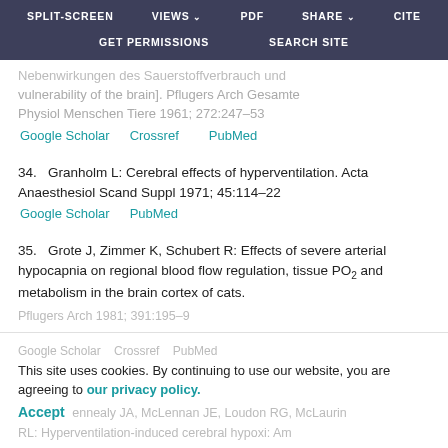SPLIT-SCREEN   VIEWS   PDF   SHARE   CITE   GET PERMISSIONS   SEARCH SITE
vulnerability of the brain]. Pflugers Arch Gesamte Physiol Menschen Tiere 1961; 272:247–53
Google Scholar   Crossref   PubMed
34.  Granholm L: Cerebral effects of hyperventilation. Acta Anaesthesiol Scand Suppl 1971; 45:114–22
Google Scholar   PubMed
35.  Grote J, Zimmer K, Schubert R: Effects of severe arterial hypocapnia on regional blood flow regulation, tissue PO2 and metabolism in the brain cortex of cats.
Pflugers Arch 1981; 391:195–9
This site uses cookies. By continuing to use our website, you are agreeing to our privacy policy. Accept
Kennealy JA, McLennan JE, Loudon RG, McLaurin RL: Hyperventilation-induced cerebral hypoxi: Am